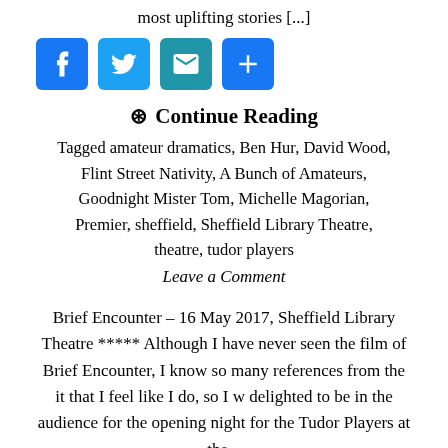most uplifting stories [...]
[Figure (infographic): Four social media sharing icons: Facebook (blue), Twitter (blue), Email (teal envelope), and Add/Share (blue plus sign)]
⊙ Continue Reading
Tagged amateur dramatics, Ben Hur, David Wood, Flint Street Nativity, A Bunch of Amateurs, Goodnight Mister Tom, Michelle Magorian, Premier, sheffield, Sheffield Library Theatre, theatre, tudor players
Leave a Comment
Brief Encounter – 16 May 2017, Sheffield Library Theatre ***** Although I have never seen the film of Brief Encounter, I know so many references from the it that I feel like I do, so I w delighted to be in the audience for the opening night for the Tudor Players at the...